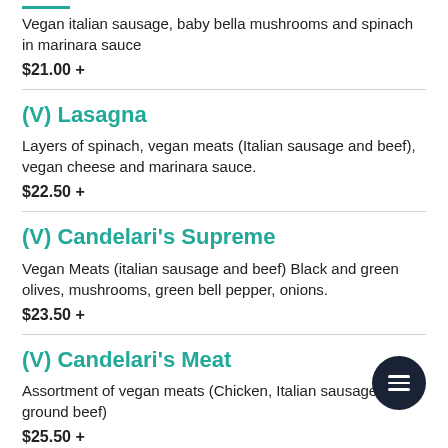Vegan italian sausage, baby bella mushrooms and spinach in marinara sauce
$21.00 +
(V) Lasagna
Layers of spinach, vegan meats (Italian sausage and beef), vegan cheese and marinara sauce.
$22.50 +
(V) Candelari's Supreme
Vegan Meats (italian sausage and beef) Black and green olives, mushrooms, green bell pepper, onions.
$23.50 +
(V) Candelari's Meat
Assortment of vegan meats (Chicken, Italian sausage and ground beef)
$25.50 +